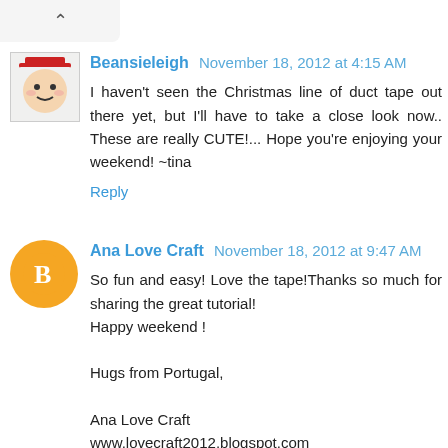[Figure (other): Chevron/up-arrow button at top left of page in a light gray rounded box]
Beansieleigh November 18, 2012 at 4:15 AM
I haven't seen the Christmas line of duct tape out there yet, but I'll have to take a close look now.. These are really CUTE!... Hope you're enjoying your weekend! ~tina
Reply
Ana Love Craft November 18, 2012 at 9:47 AM
So fun and easy! Love the tape!Thanks so much for sharing the great tutorial!
Happy weekend !

Hugs from Portugal,

Ana Love Craft
www.lovecraft2012.blogspot.com
Reply